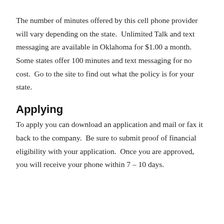The number of minutes offered by this cell phone provider will vary depending on the state.  Unlimited Talk and text messaging are available in Oklahoma for $1.00 a month.  Some states offer 100 minutes and text messaging for no cost.  Go to the site to find out what the policy is for your state.
Applying
To apply you can download an application and mail or fax it back to the company.  Be sure to submit proof of financial eligibility with your application.  Once you are approved, you will receive your phone within 7 – 10 days.